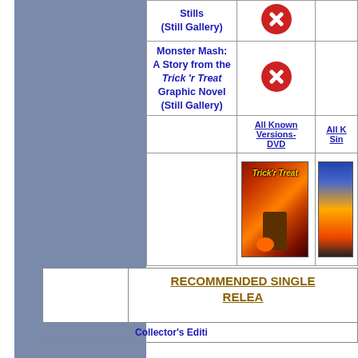| Feature | DVD | Single |
| --- | --- | --- |
| Stills (Still Gallery) | [X icon] |  |
| Monster Mash: A Story from the Trick 'r Treat Graphic Novel (Still Gallery) | [X icon] |  |
|  | All Known Versions- DVD | All Known Versions- Single |
|  | [Trick r Treat DVD cover image] | [Blu-ray cover partial] |
|  | RECOMMENDED SINGLE RELEASE |
| --- | --- |
|  | Collector's Edition |